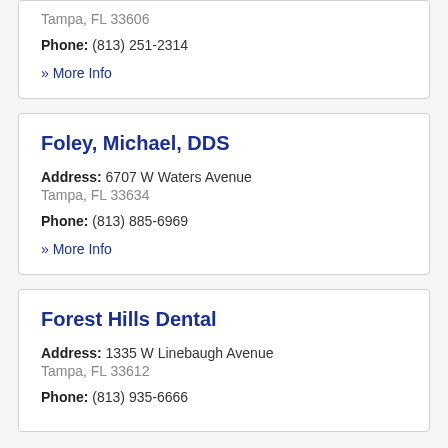Tampa, FL 33606
Phone: (813) 251-2314
» More Info
Foley, Michael, DDS
Address: 6707 W Waters Avenue
Tampa, FL 33634
Phone: (813) 885-6969
» More Info
Forest Hills Dental
Address: 1335 W Linebaugh Avenue
Tampa, FL 33612
Phone: (813) 935-6666